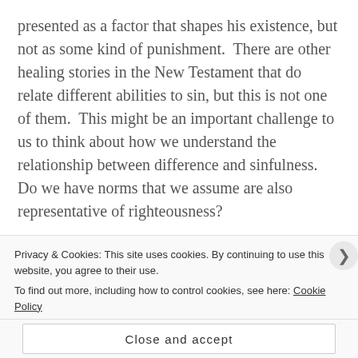presented as a factor that shapes his existence, but not as some kind of punishment.  There are other healing stories in the New Testament that do relate different abilities to sin, but this is not one of them.  This might be an important challenge to us to think about how we understand the relationship between difference and sinfulness.  Do we have norms that we assume are also representative of righteousness?
Secondly, Raffety suggests that it is not only Bartimaeus who is healed but also the crowd.  Many
Privacy & Cookies: This site uses cookies. By continuing to use this website, you agree to their use.
To find out more, including how to control cookies, see here: Cookie Policy
Close and accept